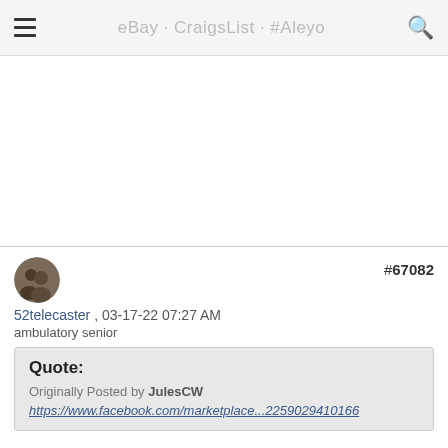≡  eBay · CraigsList · #Alepo  🔍
#67082
52telecaster  , 03-17-22 07:27 AM
ambulatory senior
Quote: Originally Posted by JulesCW https://www.facebook.com/marketplace...2259029410166